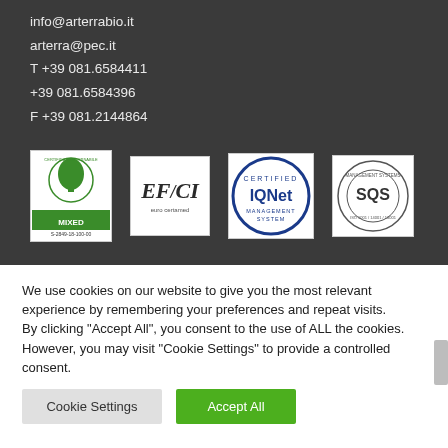info@arterrabio.it
arterra@pec.it
T +39 081.6584411
+39 081.6584396
F +39 081.2144864
[Figure (logo): Four certification logos: Pefc Mixed (S-2849-18-100-00), EFCI Euro Certamed, IQNet Certified Management System, SQS certification logo]
We use cookies on our website to give you the most relevant experience by remembering your preferences and repeat visits.
By clicking “Accept All”, you consent to the use of ALL the cookies. However, you may visit “Cookie Settings” to provide a controlled consent.
Cookie Settings
Accept All